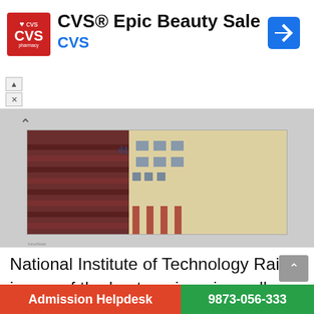[Figure (screenshot): CVS Pharmacy Epic Beauty Sale advertisement banner with red CVS logo, title text, and blue navigation arrow]
[Figure (photo): Photograph of National Institute of Technology Raipur campus building showing a modern multi-story building with horizontal striped facade on left and a cream/yellow building on right]
National Institute of Technology Raipur is one of the best engineering colleges in Chhattisgarh and it is also known as NIT Raipur. The college is one among the thirty-one National Institute of Technology in India established under the NIT Act 2007
Admission Helpdesk   9873-056-333